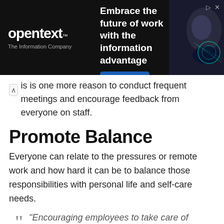[Figure (screenshot): OpenText advertisement banner with dark background. Logo reads 'opentext™ The Information Company'. Text: 'Embrace the future of work with the information advantage'. Blue 'Learn more' button. Image of woman on right side.]
is is one more reason to conduct frequent meetings and encourage feedback from everyone on staff.
Promote Balance
Everyone can relate to the pressures or remote work and how hard it can be to balance those responsibilities with personal life and self-care needs.
“Encouraging employees to take care of themselves and their mental health while being remote is also an important factor to keeping them motivated in the digital